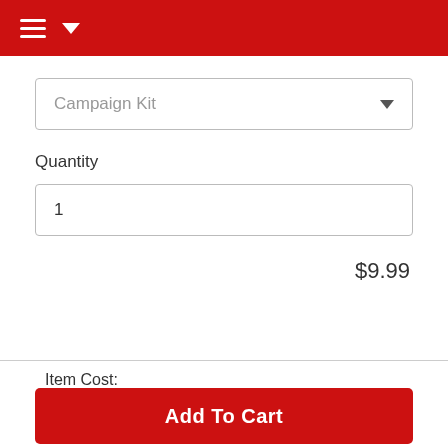Campaign Kit
Quantity
1
$9.99
Item Cost:
$9.99
Subtotal:
$9.99
Add To Cart